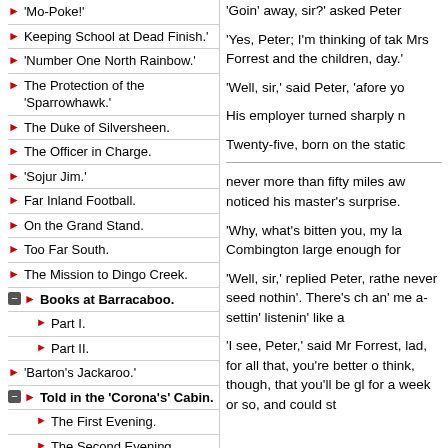'Mo-Poke!'
Keeping School at Dead Finish.'
'Number One North Rainbow.'
The Protection of the 'Sparrowhawk.'
The Duke of Silversheen.
The Officer in Charge.
'Sojur Jim.'
Far Inland Football.
On the Grand Stand.
Too Far South.
The Mission to Dingo Creek.
Books at Barracaboo.
Part I.
Part II.
'Barton's Jackaroo.'
Told in the 'Corona's' Cabin.
The First Evening.
The Second Evening.
The Third Evening.
'Dot's Claim.'
A Cape Horn Christmas.
Collapse All | Expand All
'Goin' away, sir?' asked Peter
'Yes, Peter; I'm thinking of tak Mrs Forrest and the children, day.'
'Well, sir,' said Peter, 'afore yo
His employer turned sharply n
Twenty-five, born on the static
never more than fifty miles aw noticed his master's surprise.
'Why, what's bitten you, my la Combington large enough for
'Well, sir,' replied Peter, rathe never seed nothin'. There's ch an' me a-settin' listenin' like a
'I see, Peter,' said Mr Forrest, lad, for all that, you're better o think, though, that you'll be gl for a week or so, and could st